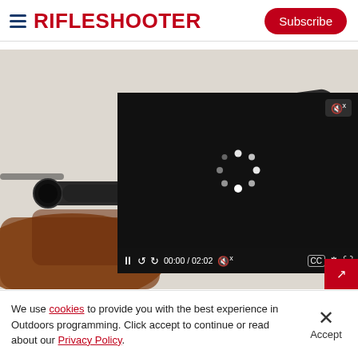RifleShooter
[Figure (screenshot): RifleShooter website screenshot showing a header with hamburger menu icon, RifleShooter logo in red, and a red Subscribe button. Below is a photo of rifle scopes and a rifle with wooden stock, overlaid by a video player showing a loading spinner, playback controls reading 00:00 / 02:02, mute button, CC button, settings and fullscreen icons. A red button is at bottom right of the video area.]
We use cookies to provide you with the best experience in Outdoors programming. Click accept to continue or read about our Privacy Policy.